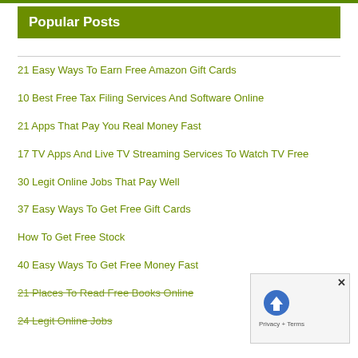Popular Posts
21 Easy Ways To Earn Free Amazon Gift Cards
10 Best Free Tax Filing Services And Software Online
21 Apps That Pay You Real Money Fast
17 TV Apps And Live TV Streaming Services To Watch TV Free
30 Legit Online Jobs That Pay Well
37 Easy Ways To Get Free Gift Cards
How To Get Free Stock
40 Easy Ways To Get Free Money Fast
21 Places To Read Free Books Online
24 Legit Online Jobs